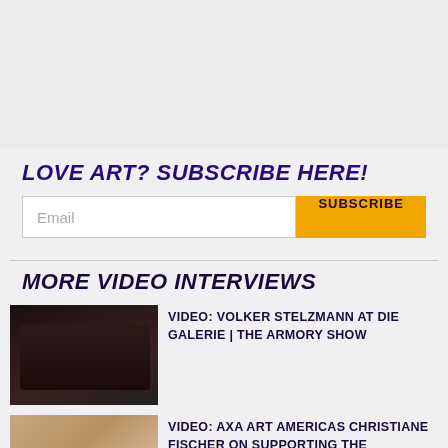[Figure (other): Gray background area at top of page, decorative/layout element]
LOVE ART? SUBSCRIBE HERE!
[Figure (other): Email subscription form with text input field and orange SUBSCRIBE button]
MORE VIDEO INTERVIEWS
[Figure (photo): Dark crowded scene thumbnail for Volker Stelzmann video]
VIDEO: VOLKER STELZMANN AT DIE GALERIE | THE ARMORY SHOW
[Figure (photo): Portrait of woman (Christiane Fischer) with book cover thumbnail]
VIDEO: AXA ART AMERICAS CHRISTIANE FISCHER ON SUPPORTING THE PHOTOGRAPHY SHOW